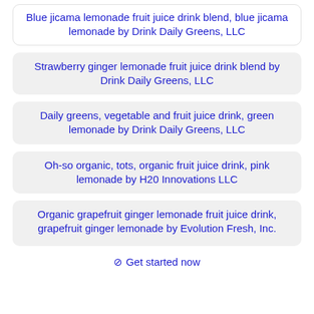Blue jicama lemonade fruit juice drink blend, blue jicama lemonade by Drink Daily Greens, LLC
Strawberry ginger lemonade fruit juice drink blend by Drink Daily Greens, LLC
Daily greens, vegetable and fruit juice drink, green lemonade by Drink Daily Greens, LLC
Oh-so organic, tots, organic fruit juice drink, pink lemonade by H20 Innovations LLC
Organic grapefruit ginger lemonade fruit juice drink, grapefruit ginger lemonade by Evolution Fresh, Inc.
⊘ Get started now